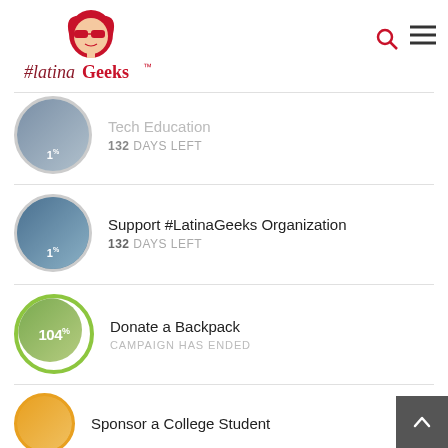[Figure (logo): #LatinaGeeks logo with illustrated woman in red sunglasses and dark hair, with text '#latinaGeeks' in red/dark red serif font]
Tech Education | 132 DAYS LEFT
Support #LatinaGeeks Organization | 132 DAYS LEFT
Donate a Backpack | CAMPAIGN HAS ENDED
Sponsor a College Student